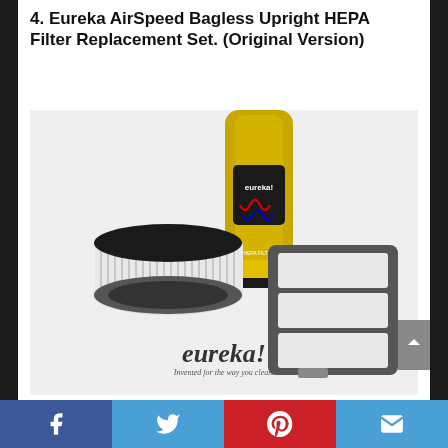4. Eureka AirSpeed Bagless Upright HEPA Filter Replacement Set. (Original Version)
[Figure (photo): Product photo showing Eureka AirSpeed bagless upright vacuum cleaner in the background with a cylindrical pleated filter and a rectangular HEPA filter frame in the foreground, and the Eureka brand logo at the bottom of the image.]
Facebook | Twitter | Pinterest | Email